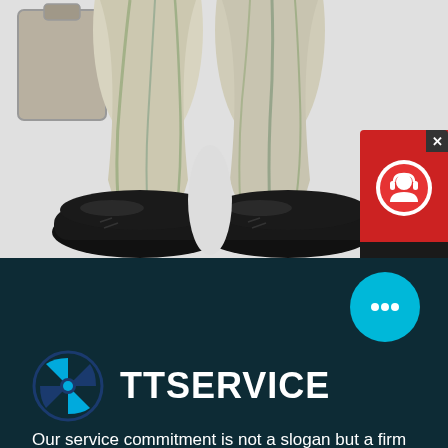[Figure (photo): Close-up photo of a figurine's lower body showing white/cream draped fabric legs and large black oversized shoes/boots, with a silver briefcase visible at left. Background is light gray.]
[Figure (infographic): Red chat widget box in top-right corner with a close X button, a white circular icon with a customer service avatar, and a dark bar below reading 'Chat Now']
[Figure (infographic): Cyan/teal circular chat bubble button floating on the dark background section, containing three dots (ellipsis) symbol]
[Figure (logo): TTSERVICE logo: circular blue icon with cross/globe motif in cyan and navy blue, next to bold white text 'TTSERVICE']
Our service commitment is not a slogan but a firm